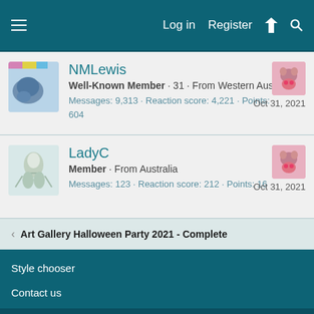≡  Log in  Register  ⚡  🔍
NMLewis
Well-Known Member · 31 · From Western Australia
Messages: 9,313 · Reaction score: 4,221 · Points: 604
Oct 31, 2021
LadyC
Member · From Australia
Messages: 123 · Reaction score: 212 · Points: 16
Oct 31, 2021
< Art Gallery Halloween Party 2021 - Complete
Style chooser
Contact us
This site uses cookies to help personalise content, tailor your experience and to keep you logged in if you register.
By continuing to use this site, you are consenting to our use of cookies.
✓ Accept   Learn more...